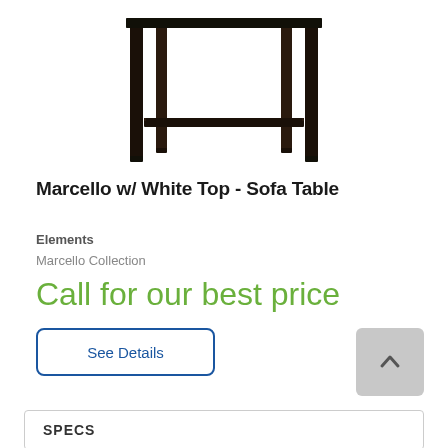[Figure (photo): Black sofa table with lower shelf and four legs, viewed from front-angle. Dark espresso finish.]
Marcello w/ White Top - Sofa Table
Elements
Marcello Collection
Call for our best price
See Details
SPECS